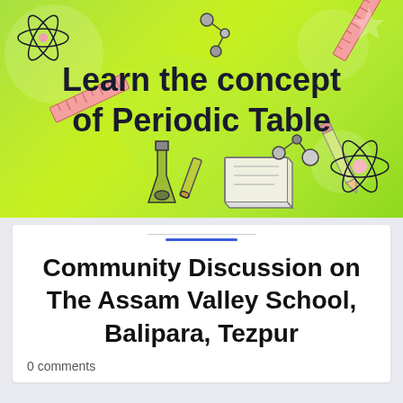[Figure (illustration): Green gradient banner illustration showing science and education icons (atom, molecules, ruler, pencil, flask, test tube, book) with bold text 'Learn the concept of Periodic Table']
Community Discussion on The Assam Valley School, Balipara, Tezpur
0 comments